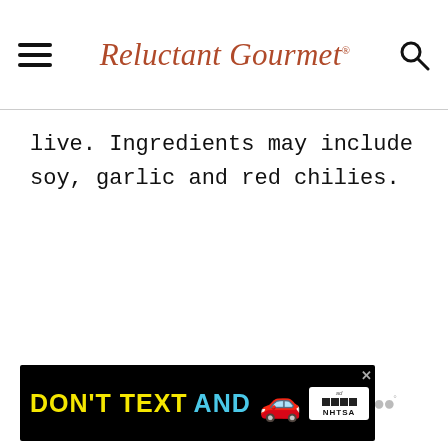Reluctant Gourmet
live. Ingredients may include soy, garlic and red chilies.
[Figure (screenshot): Advertisement banner: 'DON'T TEXT AND' with a red car emoji and NHTSA logo on black background]